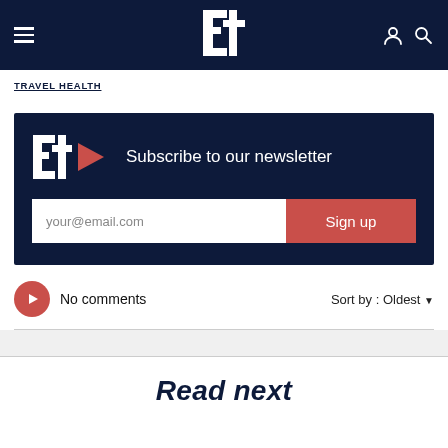Navigation bar with hamburger menu, Economist logo, user and search icons
TRAVEL HEALTH
[Figure (infographic): Subscribe to our newsletter panel with Et logo, email input field and Sign up button]
No comments  Sort by : Oldest
Read next